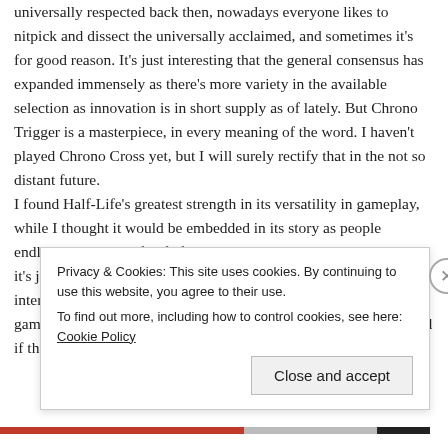universally respected back then, nowadays everyone likes to nitpick and dissect the universally acclaimed, and sometimes it's for good reason. It's just interesting that the general consensus has expanded immensely as there's more variety in the available selection as innovation is in short supply as of lately. But Chrono Trigger is a masterpiece, in every meaning of the word. I haven't played Chrono Cross yet, but I will surely rectify that in the not so distant future.
I found Half-Life's greatest strength in its versatility in gameplay, while I thought it would be embedded in its story as people endlessly praise Half-Life for its narrative. It's not necessarily bad, it's just not as special as everyone claims it to be, although it's interesting nonetheless. Granted, I hear Half-Life 2 is the better game of the two so I'm interested if there's more to its narrative and if there is any character development at all. Though I will
Privacy & Cookies: This site uses cookies. By continuing to use this website, you agree to their use.
To find out more, including how to control cookies, see here: Cookie Policy